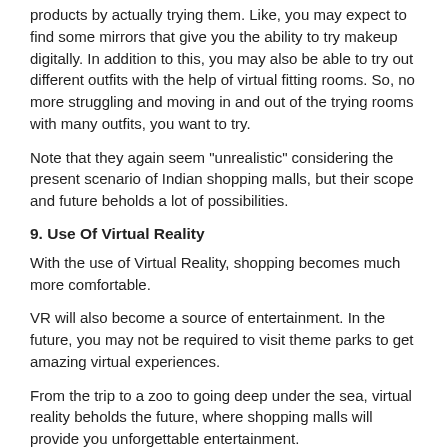products by actually trying them. Like, you may expect to find some mirrors that give you the ability to try makeup digitally. In addition to this, you may also be able to try out different outfits with the help of virtual fitting rooms. So, no more struggling and moving in and out of the trying rooms with many outfits, you want to try.
Note that they again seem "unrealistic" considering the present scenario of Indian shopping malls, but their scope and future beholds a lot of possibilities.
9. Use Of Virtual Reality
With the use of Virtual Reality, shopping becomes much more comfortable.
VR will also become a source of entertainment. In the future, you may not be required to visit theme parks to get amazing virtual experiences.
From the trip to a zoo to going deep under the sea, virtual reality beholds the future, where shopping malls will provide you unforgettable entertainment.
10. Parking That's Pain-Free
Do you also find it annoying that whenever you go to the shopping malls, face problems when trying to find a parking place? Well, this is a significant problem with traditional shopping malls. In the future, this scenario will become just one of the horrible experiences of the past. The use of overhead sensors will ease out the process of finding a free